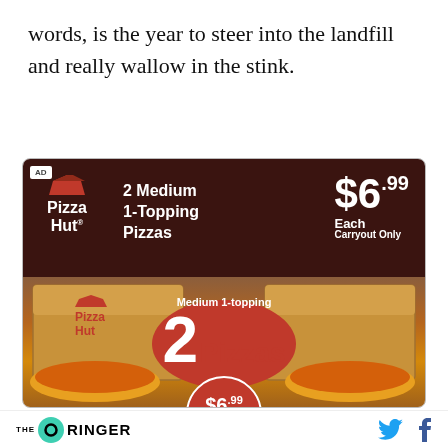words, is the year to steer into the landfill and really wallow in the stink.
[Figure (photo): Pizza Hut advertisement showing 2 Medium 1-Topping Pizzas for $6.99 Each Carryout Only, with two open pizza boxes containing pepperoni pizzas and an overlay showing '2 Pizzas $6.99 Each Carryout Only']
THE RINGER [logo] [Twitter icon] [Facebook icon]